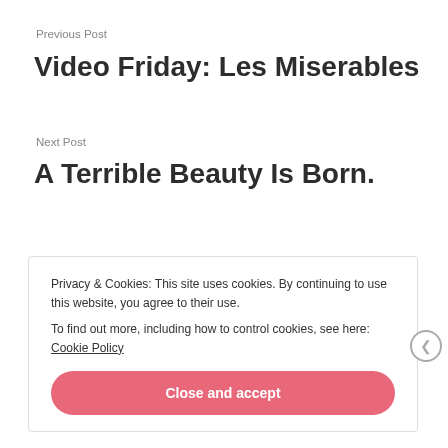Previous Post
Video Friday: Les Miserables
Next Post
A Terrible Beauty Is Born.
Privacy & Cookies: This site uses cookies. By continuing to use this website, you agree to their use.
To find out more, including how to control cookies, see here: Cookie Policy
Close and accept